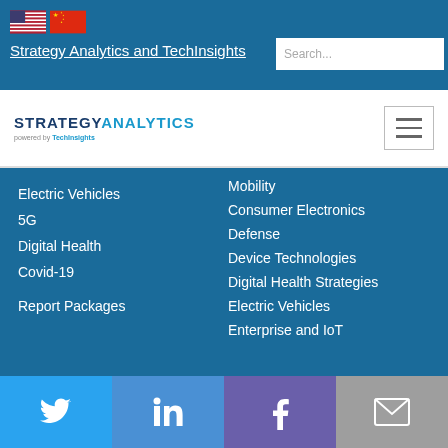[Figure (infographic): US and Chinese flag icons in the top bar]
Strategy Analytics and TechInsights
[Figure (screenshot): Search box with placeholder text 'Search...']
[Figure (logo): Strategy Analytics powered by TechInsights logo with hamburger menu icon]
Electric Vehicles
5G
Digital Health
Covid-19
Report Packages
Mobility
Consumer Electronics
Defense
Device Technologies
Digital Health Strategies
Electric Vehicles
Enterprise and IoT
Twitter LinkedIn Facebook Email social links